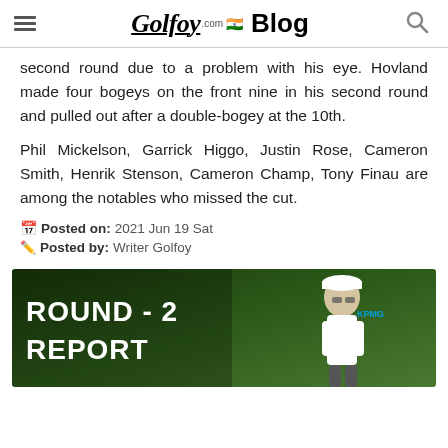Golfoy.com Blog
second round due to a problem with his eye. Hovland made four bogeys on the front nine in his second round and pulled out after a double-bogey at the 10th.
Phil Mickelson, Garrick Higgo, Justin Rose, Cameron Smith, Henrik Stenson, Cameron Champ, Tony Finau are among the notables who missed the cut.
Posted on: 2021 Jun 19 Sat
Posted by: Writer Golfoy
[Figure (photo): ROUND - 2 REPORT banner image with a female golfer wearing a white cap and sunglasses, set against a green outdoor background]